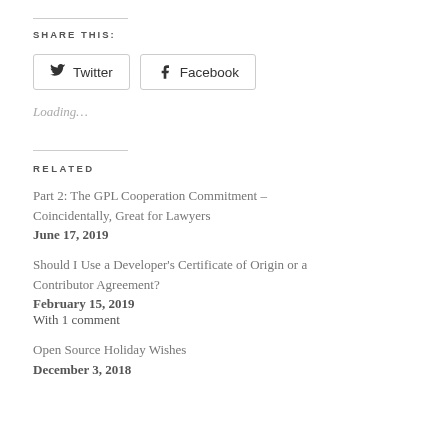SHARE THIS:
Twitter  Facebook
Loading…
RELATED
Part 2: The GPL Cooperation Commitment – Coincidentally, Great for Lawyers
June 17, 2019
Should I Use a Developer's Certificate of Origin or a Contributor Agreement?
February 15, 2019
With 1 comment
Open Source Holiday Wishes
December 3, 2018